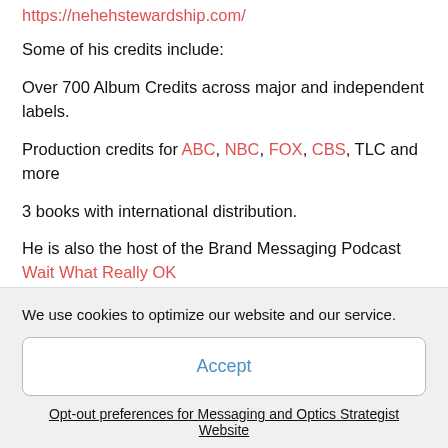https://nehehstewardship.com/
Some of his credits include:
Over 700 Album Credits across major and independent labels.
Production credits for ABC, NBC, FOX, CBS, TLC and more
3 books with international distribution.
He is also the host of the Brand Messaging Podcast Wait What Really OK
As well as being a strategist for FSG, Weisman also has
We use cookies to optimize our website and our service.
Accept
Opt-out preferences for Messaging and Optics Strategist Website